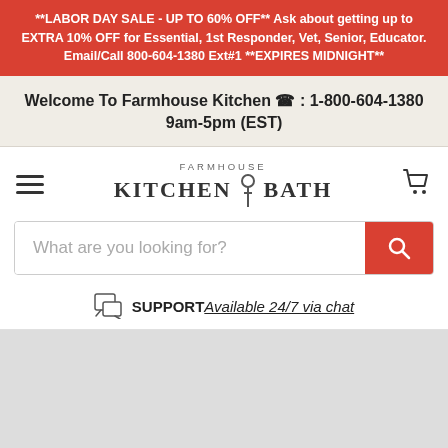**LABOR DAY SALE - UP TO 60% OFF** Ask about getting up to EXTRA 10% OFF for Essential, 1st Responder, Vet, Senior, Educator. Email/Call 800-604-1380 Ext#1 **EXPIRES MIDNIGHT**
Welcome To Farmhouse Kitchen ☎ : 1-800-604-1380 9am-5pm (EST)
[Figure (logo): Farmhouse Kitchen & Bath logo with hamburger menu icon on left and cart icon on right]
[Figure (screenshot): Search bar with placeholder text 'What are you looking for?' and red search button]
SUPPORT Available 24/7 via chat